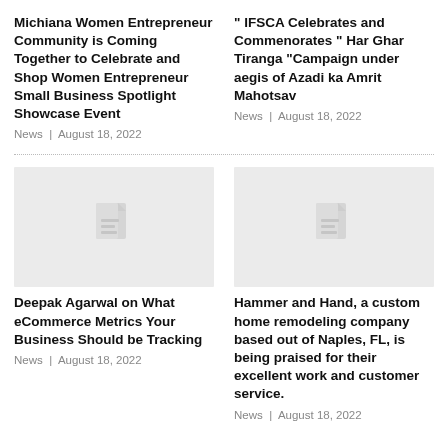Michiana Women Entrepreneur Community is Coming Together to Celebrate and Shop Women Entrepreneur Small Business Spotlight Showcase Event
News | August 18, 2022
" IFSCA Celebrates and Commenorates " Har Ghar Tiranga "Campaign under aegis of Azadi ka Amrit Mahotsav
News | August 18, 2022
[Figure (illustration): Placeholder image with document icon for Deepak Agarwal article]
[Figure (illustration): Placeholder image with document icon for Hammer and Hand article]
Deepak Agarwal on What eCommerce Metrics Your Business Should be Tracking
News | August 18, 2022
Hammer and Hand, a custom home remodeling company based out of Naples, FL, is being praised for their excellent work and customer service.
News | August 18, 2022